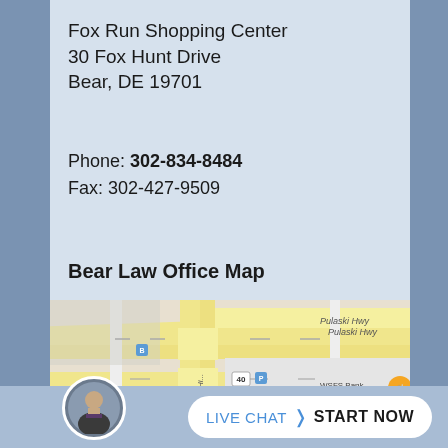Fox Run Shopping Center
30 Fox Hunt Drive
Bear, DE 19701
Phone: 302-834-8484
Fax: 302-427-9509
Bear Law Office Map
[Figure (map): Google Maps view showing 30 Fox Hunt Drive, Bear, DE near Pulaski Hwy intersection with Wrangle Hill Rd. Shows M&T Bank, GNC, Saladworks, WSFS Bank markers. Red pin at 30 Fox Hunt Drive.]
LIVE CHAT  START NOW